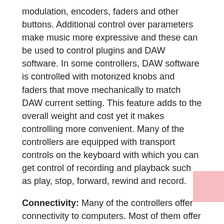modulation, encoders, faders and other buttons. Additional control over parameters make music more expressive and these can be used to control plugins and DAW software. In some controllers, DAW software is controlled with motorized knobs and faders that move mechanically to match DAW current setting. This feature adds to the overall weight and cost yet it makes controlling more convenient. Many of the controllers are equipped with transport controls on the keyboard with which you can get control of recording and playback such as play, stop, forward, rewind and record.
Connectivity: Many of the controllers offer connectivity to computers. Most of them offer through USB while some also allow for wireless connectivity with Bluetooth.
Power Supply: MIDI keyboards also come with built-in